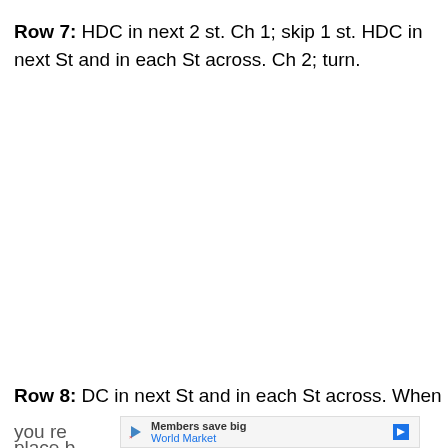Row 7: HDC in next 2 st. Ch 1; skip 1 st. HDC in next St and in each St across. Ch 2; turn.
Row 8: DC in next St and in each St across. When you re... place b... Ch 2;